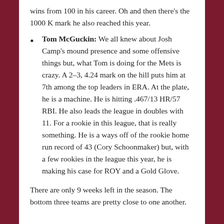wins from 100 in his career. Oh and then there's the 1000 K mark he also reached this year.
Tom McGuckin: We all knew about Josh Camp's mound presence and some offensive things but, what Tom is doing for the Mets is crazy. A 2-3, 4.24 mark on the hill puts him at 7th among the top leaders in ERA. At the plate, he is a machine. He is hitting .467/13 HR/57 RBI. He also leads the league in doubles with 11. For a rookie in this league, that is really something. He is a ways off of the rookie home run record of 43 (Cory Schoonmaker) but, with a few rookies in the league this year, he is making his case for ROY and a Gold Glove.
There are only 9 weeks left in the season. The bottom three teams are pretty close to one another.